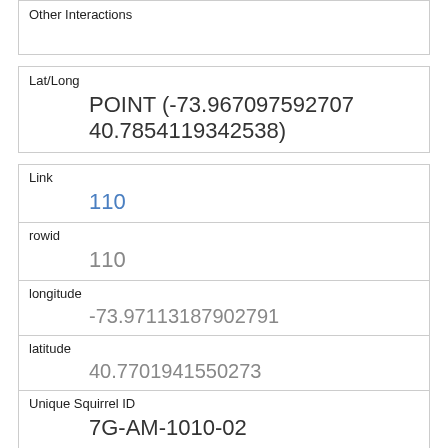| Other Interactions |  |
| Lat/Long | POINT (-73.967097592707 40.7854119342538) |
| Link | 110 |
| rowid | 110 |
| longitude | -73.97113187902791 |
| latitude | 40.7701941550273 |
| Unique Squirrel ID | 7G-AM-1010-02 |
| Hectare | 07G |
| Shift | AM |
| Date | 10102018 |